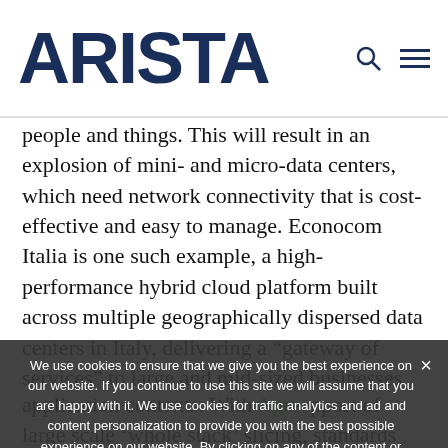ARISTA
people and things. This will result in an explosion of mini- and micro-data centers, which need network connectivity that is cost-effective and easy to manage. Econocom Italia is one such example, a high-performance hybrid cloud platform built across multiple geographically dispersed data centers in Italy, delivering a “gateway of services” to large and mid-sized businesses
We use cookies to ensure that we give you the best experience on our website. If you continue to use this site we will assume that you are happy with it. We use cookies for traffic analytics and ad and content personalization to provide you with the best possible experience on our website. By clicking on any of the content or interacting with any section of this website, you are agreeing to this use of cookies. For more information, we invite you to review our privacy policy here.
application contexts. With support of large scale ‘whole stack’ slicing, standards such as VXLAN for